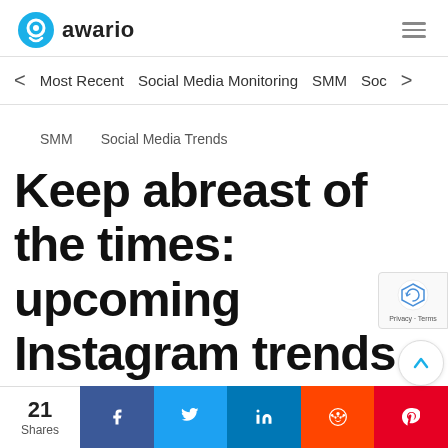awario
Most Recent   Social Media Monitoring   SMM   Soc
SMM   Social Media Trends
Keep abreast of the times: upcoming Instagram trends of 2019
21 Shares